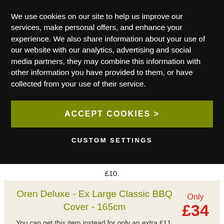We use cookies on our site to help us improve our services, make personal offers, and enhance your experience. We also share information about your use of our website with our analytics, advertising and social media partners, they may combine this information with other information you have provided to them, or have collected from your use of their service.
ACCEPT COOKIES >
CUSTOM SETTINGS
£10.
Oren Deluxe - Ex Large Classic BBQ Cover - 165cm
Only £34
You can get this item instead for only an extra £11.